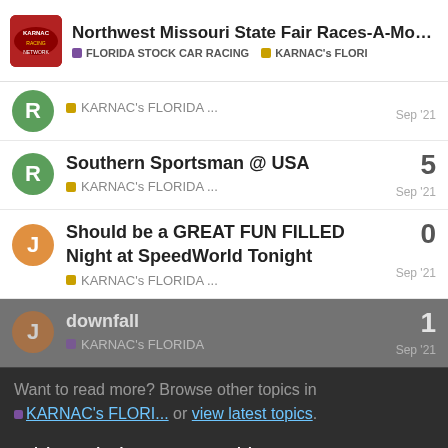Northwest Missouri State Fair Races-A-Mods-B-... | FLORIDA STOCK CAR RACING | KARNAC's FLORI
KARNAC's FLORIDA ... Sep '21
Southern Sportsman @ USA  5  KARNAC's FLORIDA ... Sep '21
Should be a GREAT FUN FILLED Night at SpeedWorld Tonight  0  KARNAC's FLORIDA ... Sep '21
downfall  1  KARNAC's FLORIDA  Sep '21
This website uses cookies to ensure you get the best experience. Learn more
Want to read more? Browse other topics in KARNAC's FLORI... or view latest topics.
Okay
(C) 1997-2022 KARNAC Media LLC. All Rights Reserved